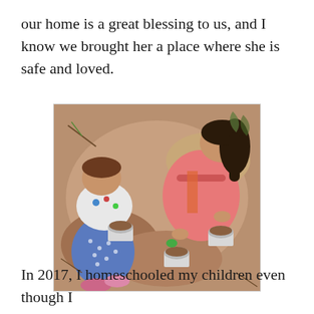our home is a great blessing to us, and I know we brought her a place where she is safe and loved.
[Figure (photo): Overhead view of two children playing in dirt/sand, filling white bowls or cups with soil. One child wears blue patterned pants and colorful shoes; the other wears a pink hoodie and has long dark hair.]
In 2017, I homeschooled my children even though I